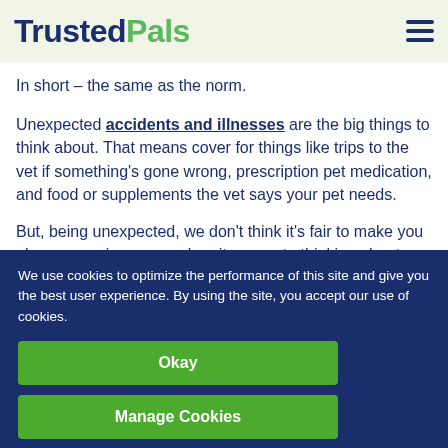TrustedPals
In short – the same as the norm.
Unexpected accidents and illnesses are the big things to think about. That means cover for things like trips to the vet if something's gone wrong, prescription pet medication, and food or supplements the vet says your pet needs.
But, being unexpected, we don't think it's fair to make you play a guessing game when it comes to thinking about what conditions additions we might take...
We use cookies to optimize the performance of this site and give you the best user experience. By using the site, you accept our use of cookies.
Okay
Manage Cookies